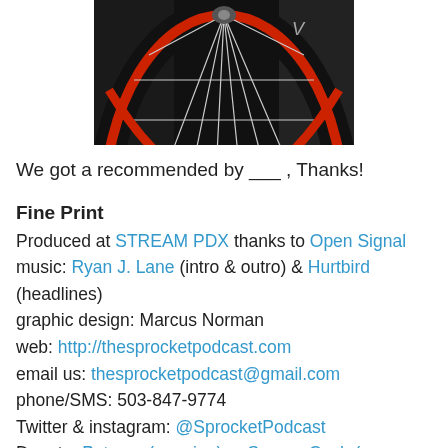[Figure (photo): Close-up photo of a bicycle wheel with red rim and spokes, black tire, dark background]
We got a recommended by ___ , Thanks!
Fine Print
Produced at STREAM PDX thanks to Open Signal music: Ryan J. Lane (intro & outro) & Hurtbird (headlines)
graphic design: Marcus Norman
web: http://thesprocketpodcast.com
email us: thesprocketpodcast@gmail.com
phone/SMS: 503-847-9774
Twitter & instagram: @SprocketPodcast
Donate: Patreon (ongoing) or Square Cash (one-time)